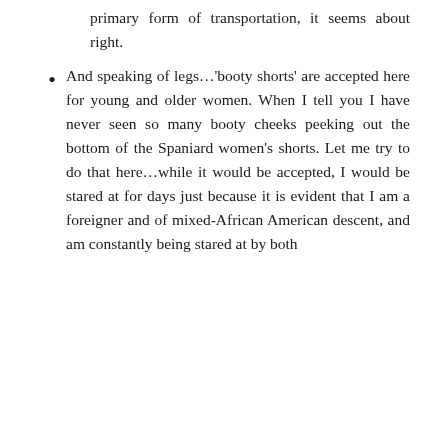primary form of transportation, it seems about right.
And speaking of legs…'booty shorts' are accepted here for young and older women. When I tell you I have never seen so many booty cheeks peeking out the bottom of the Spaniard women's shorts. Let me try to do that here…while it would be accepted, I would be stared at for days just because it is evident that I am a foreigner and of mixed-African American descent, and am constantly being stared at by both